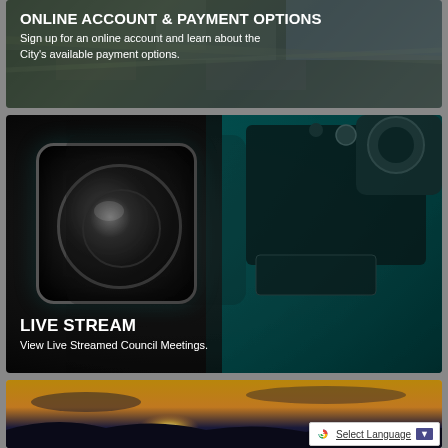[Figure (photo): Aerial view of a city with text overlay promoting online account and payment options]
ONLINE ACCOUNT & PAYMENT OPTIONS
Sign up for an online account and learn about the City's available payment options.
[Figure (photo): Close-up of a professional broadcast video camera with teal/dark background]
LIVE STREAM
View Live Streamed Council Meetings.
[Figure (photo): Sunset landscape photo with silhouetted hills and golden sky]
Select Language